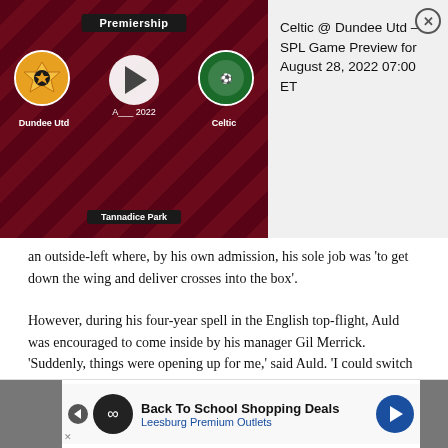[Figure (screenshot): Video preview card for Dundee Utd vs Celtic Premiership match, August 2022, with play button, team badges, and Tannadice Park venue label]
Celtic @ Dundee Utd – SPL Game Preview for August 28, 2022 07:00 ET
an outside-left where, by his own admission, his sole job was 'to get down the wing and deliver crosses into the box'.
However, during his four-year spell in the English top-flight, Auld was encouraged to come inside by his manager Gil Merrick. 'Suddenly, things were opening up for me,' said Auld. 'I could switch play from left to right, I could play balls to feet and take return passes in dangerous areas. I've no doubt my stint across the border enhanced my game. I think Celtic got a better player when they bought me than the one they sold. And they made a £3,000 profit!'
[Figure (screenshot): Advertisement banner: Back To School Shopping Deals – Leesburg Premium Outlets]